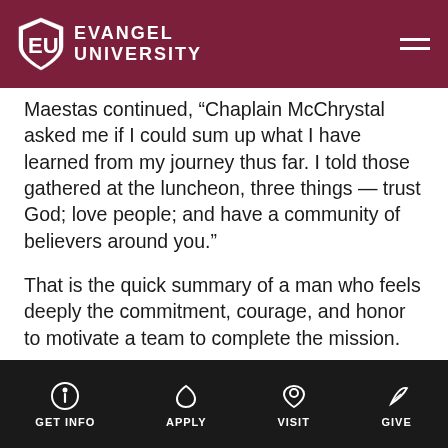Evangel University
Maestas continued, “Chaplain McChrystal asked me if I could sum up what I have learned from my journey thus far. I told those gathered at the luncheon, three things — trust God; love people; and have a community of believers around you.”
That is the quick summary of a man who feels deeply the commitment, courage, and honor to motivate a team to complete the mission.
“At the end of the day, I don’t want to look back and see myself as just another counselor, social worker or a shoulder to cry on,” he said. “I will be a chaplain that
GET INFO   APPLY   VISIT   GIVE